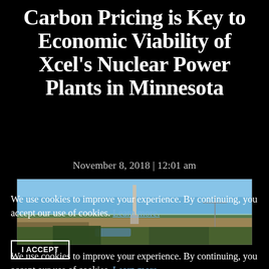Carbon Pricing is Key to Economic Viability of Xcel’s Nuclear Power Plants in Minnesota
November 8, 2018 | 12:01 am
[Figure (photo): Aerial panoramic photograph of a flat rural landscape with trees, fields, and a tall structure (likely a nuclear plant cooling tower or smokestack) visible in the center-background under a blue sky.]
We use cookies to improve your experience. By continuing, you accept our use of cookies. Learn more.
I ACCEPT